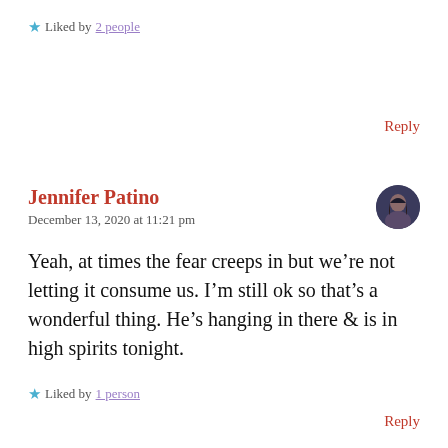★ Liked by 2 people
Reply
Jennifer Patino
December 13, 2020 at 11:21 pm
Yeah, at times the fear creeps in but we're not letting it consume us. I'm still ok so that's a wonderful thing. He's hanging in there & is in high spirits tonight.
★ Liked by 1 person
Reply